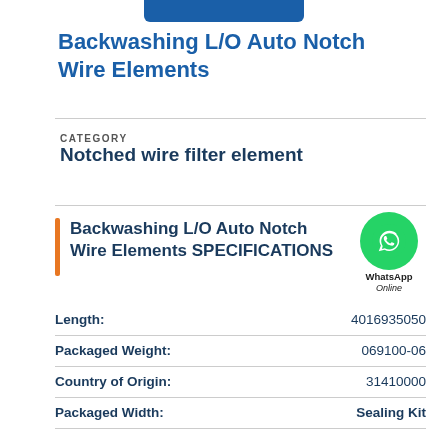Backwashing L/O Auto Notch Wire Elements
CATEGORY
Notched wire filter element
Backwashing L/O Auto Notch Wire Elements SPECIFICATIONS
| Property | Value |
| --- | --- |
| Length: | 4016935050 |
| Packaged Weight: | 069100-06 |
| Country of Origin: | 31410000 |
| Packaged Width: | Sealing Kit |